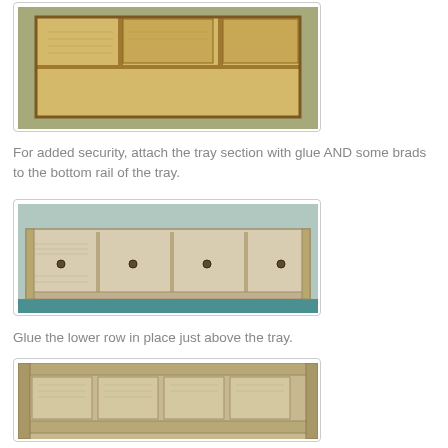[Figure (photo): Top-down view of a wooden tray organizer with multiple compartments, placed on a green cutting mat]
For added security, attach the tray section with glue AND some brads to the bottom rail of the tray.
[Figure (photo): Side view of a wooden tray organizer with multiple compartments and visible brads, sitting on a teal surface]
Glue the lower row in place just above the tray.
[Figure (photo): Front view of a wooden rack/organizer showing lower row of compartments glued above the tray section]